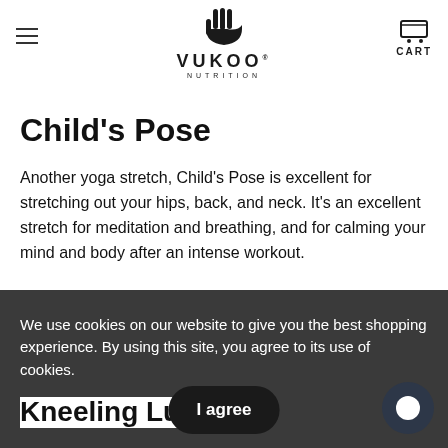VUKOO NUTRITION
Child's Pose
Another yoga stretch, Child's Pose is excellent for stretching out your hips, back, and neck. It's an excellent stretch for meditation and breathing, and for calming your mind and body after an intense workout.
We use cookies on our website to give you the best shopping experience. By using this site, you agree to its use of cookies.
Kneeling Lunge Stretch